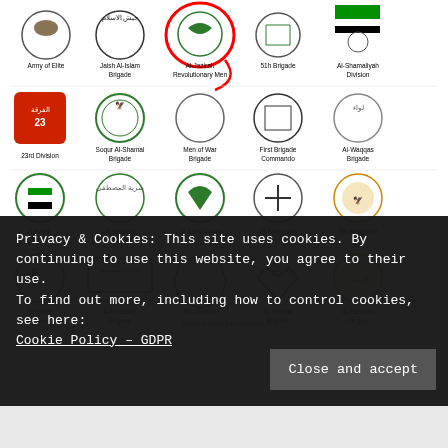[Figure (infographic): Grid of Syrian rebel group logos/emblems with names below each. Rows include: Army of Elite, Jaish Al-Islam Brigade, Al-Jazirah Revolutionary Men (circled in red), 51h Brigade, Al-Shamaliyah Division; 23rd Division, Soqur Al-Shamal Brigade, Men of War Brigade, First Brigade Commando, Al-Waqqas Brigade; Levant Front, Al-Mustafa Squad, Al-Ahfad Army, Al-Sharqiyah Army, 5th Regiment; Fastaqim Brigade, Al-Mutasem Brigade, 9th Division, Al-Shamal Brigade, Al-Rahman Legion. Bottom edge shows partial row and 'National Front for Liberation:' text.]
Privacy & Cookies: This site uses cookies. By continuing to use this website, you agree to their use.
To find out more, including how to control cookies, see here:
Cookie Policy – GDPR
Close and accept